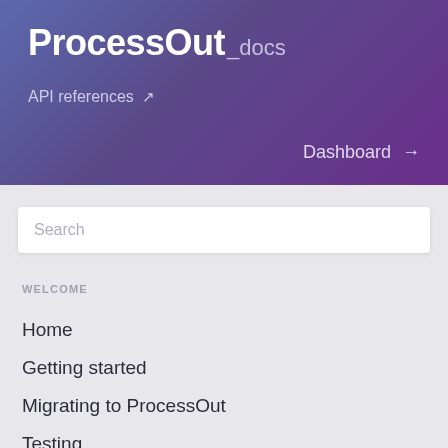ProcessOut _docs
API references ↗
Dashboard →
Search
WELCOME
Home
Getting started
Migrating to ProcessOut
Testing
Error codes